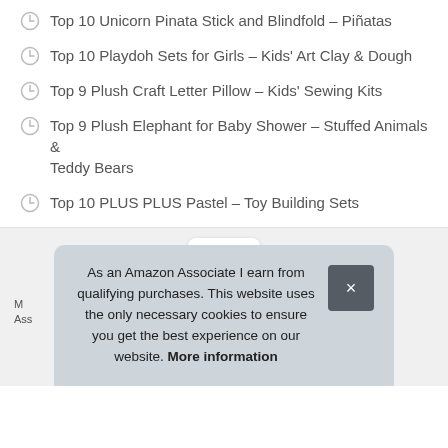Top 10 Unicorn Pinata Stick and Blindfold – Piñatas
Top 10 Playdoh Sets for Girls – Kids' Art Clay & Dough
Top 9 Plush Craft Letter Pillow – Kids' Sewing Kits
Top 9 Plush Elephant for Baby Shower – Stuffed Animals & Teddy Bears
Top 10 PLUS PLUS Pastel – Toy Building Sets
[Figure (other): Up/back-to-top chevron button in white rounded rectangle on gray background]
As an Amazon Associate I earn from qualifying purchases. This website uses the only necessary cookies to ensure you get the best experience on our website. More information